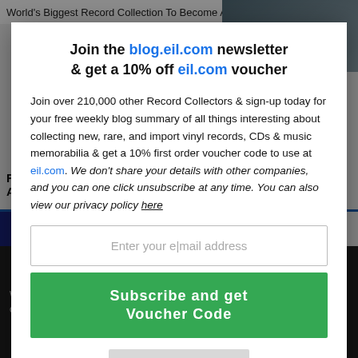World's Biggest Record Collection To Become Audio
Join the blog.eil.com newsletter & get a 10% off eil.com voucher
Join over 210,000 other Record Collectors & sign-up today for your free weekly blog summary of all things interesting about collecting new, rare, and import vinyl records, CDs & music memorabilia & get a 10% first order voucher code to use at eil.com. We don't share your details with other companies, and you can one click unsubscribe at any time. You can also view our privacy policy here
Enter your email address
Subscribe and get Voucher Code
CLOSE X
RELATED A
Subscribe and get 10% off
s' Flash In
ectable just
We use co ience on our website ne that you
×